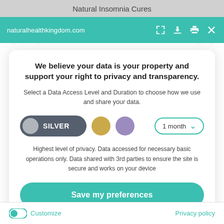Natural Insomnia Cures
naturalhealthkingdom.com
We believe your data is your property and support your right to privacy and transparency.
Select a Data Access Level and Duration to choose how we use and share your data.
SILVER  [gold circle]  [purple circle]  1 month ▾
Highest level of privacy. Data accessed for necessary basic operations only. Data shared with 3rd parties to ensure the site is secure and works on your device
Save my preferences
Customize
Privacy policy